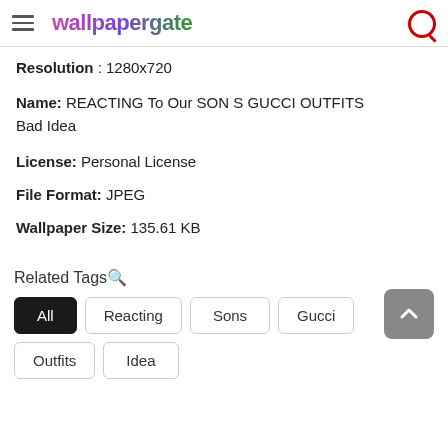wallpapergate
Resolution : 1280x720
Name: REACTING To Our SON S GUCCI OUTFITS Bad Idea
License: Personal License
File Format: JPEG
Wallpaper Size: 135.61 KB
Related Tags🔍
All
Reacting
Sons
Gucci
Outfits
Idea